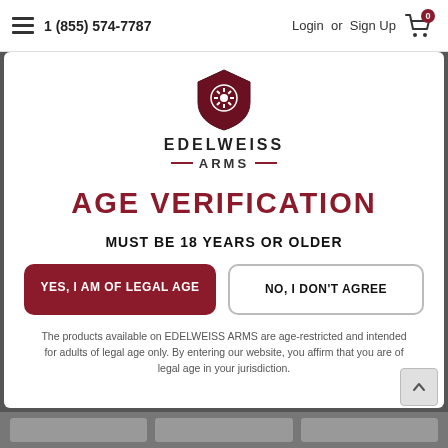1 (855) 574-7787   Login or Sign Up
[Figure (logo): Edelweiss Arms shield logo with gear/snowflake emblem, dark red shield shape]
EDELWEISS ARMS
AGE VERIFICATION
MUST BE 18 YEARS OR OLDER
YES, I AM OF LEGAL AGE
NO, I DON'T AGREE
The products available on EDELWEISS ARMS are age-restricted and intended for adults of legal age only. By entering our website, you affirm that you are of legal age in your jurisdiction.